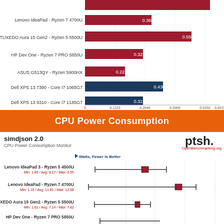[Figure (bar-chart): Geekbench 5 Multi-Core (partial)]
CPU Power Consumption
simdjson 2.0
CPU Power Consumption Monitor
[Figure (bar-chart): CPU Power Consumption - simdjson 2.0]